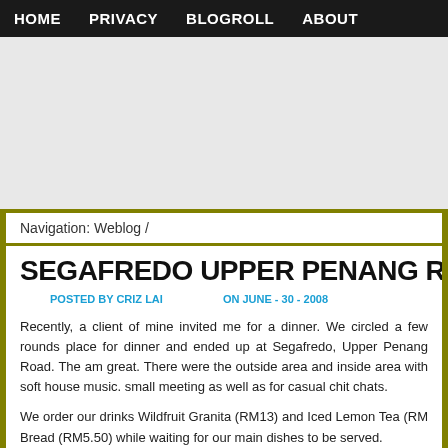HOME   PRIVACY   BLOGROLL   ABOUT
[Figure (other): Advertisement banner area, gray background]
Navigation: Weblog /
SEGAFREDO UPPER PENANG ROAD
POSTED BY CRIZ LAI   ON JUNE - 30 - 2008
Recently, a client of mine invited me for a dinner. We circled a few rounds place for dinner and ended up at Segafredo, Upper Penang Road. The am great. There were the outside area and inside area with soft house music. small meeting as well as for casual chit chats.
We order our drinks Wildfruit Granita (RM13) and Iced Lemon Tea (RM Bread (RM5.50) while waiting for our main dishes to be served.
My client ordered the Chicken Arrosto (RM13.50) which looked very impre